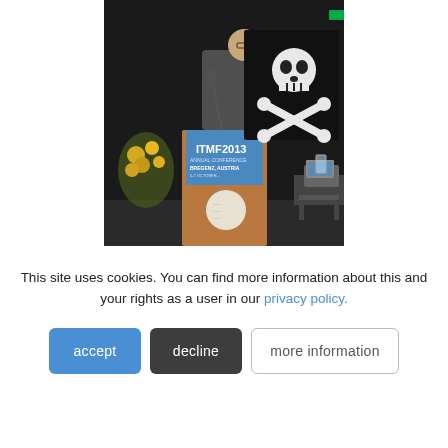[Figure (photo): A man standing at a wooden podium labeled 'ITMF 2013 Annual Conference, Bregenz, Austria' holding up a large black pirate flag (skull and crossbones). Yellow flowers are visible on the left. A laptop and glass of water are on a table to the right.]
This site uses cookies. You can find more information about this and your rights as a user in our privacy policy.